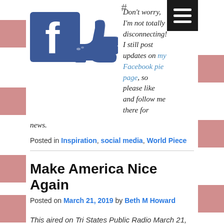[Figure (illustration): Facebook logo (blue 'f' square) next to a blue thumbs-up 'Like' hand icon, with a hashtag symbol above]
Don't worry, I'm not totally disconnecting! I still post updates on my Facebook pie page, so please like and follow me there for news.
Posted in Inspiration, social media, World Piece
Make America Nice Again
Posted on March 21, 2019 by Beth M Howard
This aired on Tri States Public Radio March 21, 2019
LISTEN HERE